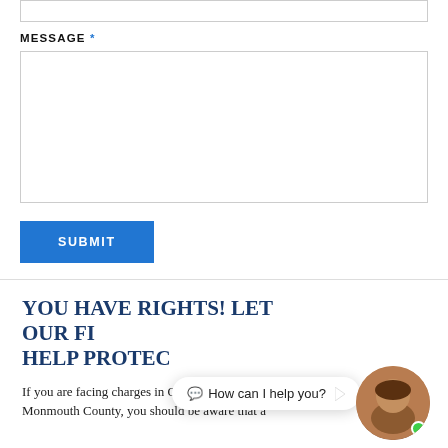[Figure (screenshot): Small input text box at top of page (form field), partially visible]
MESSAGE *
[Figure (screenshot): Large textarea input box for message field]
SUBMIT
YOU HAVE RIGHTS! LET OUR FI… HELP PROTEC…
If you are facing charges in Ocean County or Monmouth County, you should be aware that a
[Figure (screenshot): Chat widget bubble saying 'How can I help you?' with avatar of a man and green online indicator dot]